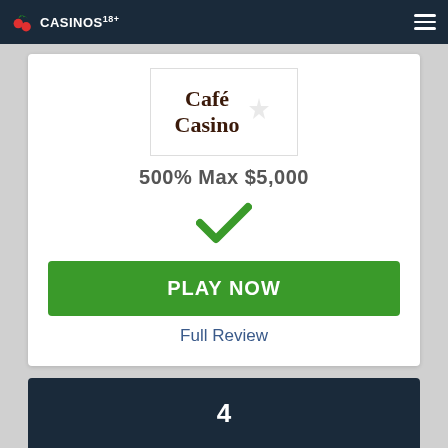CASINOS 18+
[Figure (logo): Café Casino logo with playing card spade symbol]
500% Max $5,000
[Figure (other): Green checkmark icon]
PLAY NOW
Full Review
4